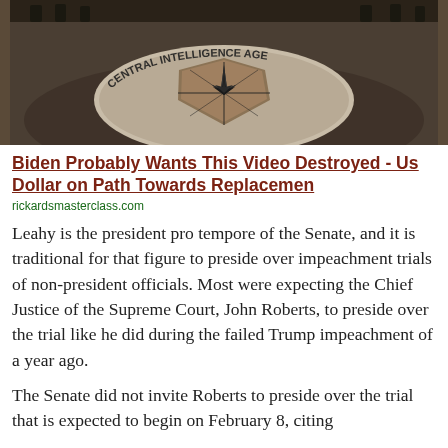[Figure (photo): CIA headquarters lobby floor with the CIA seal (eagle, compass star) visible, people standing around the edges]
Biden Probably Wants This Video Destroyed - Us Dollar on Path Towards Replacemen
rickardsmasterclass.com
Leahy is the president pro tempore of the Senate, and it is traditional for that figure to preside over impeachment trials of non-president officials. Most were expecting the Chief Justice of the Supreme Court, John Roberts, to preside over the trial like he did during the failed Trump impeachment of a year ago.
The Senate did not invite Roberts to preside over the trial that is expected to begin on February 8, citing